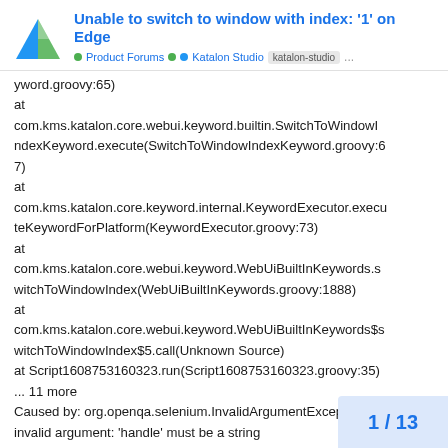Unable to switch to window with index: '1' on Edge | Product Forums • Katalon Studio | katalon-studio
yword.groovy:65)
at
com.kms.katalon.core.webui.keyword.builtin.SwitchToWindowIndexKeyword.execute(SwitchToWindowIndexKeyword.groovy:67)
at
com.kms.katalon.core.keyword.internal.KeywordExecutor.executeKeywordForPlatform(KeywordExecutor.groovy:73)
at
com.kms.katalon.core.webui.keyword.WebUiBuiltInKeywords.switchToWindowIndex(WebUiBuiltInKeywords.groovy:1888)
at
com.kms.katalon.core.webui.keyword.WebUiBuiltInKeywords$switchToWindowIndex$5.call(Unknown Source)
at Script1608753160323.run(Script1608753160323.groovy:35)
... 11 more
Caused by: org.openqa.selenium.InvalidArgumentException: invalid argument: 'handle' must be a string
(Session info: MicrosoftEdge=87.0.664.41)
1 / 13